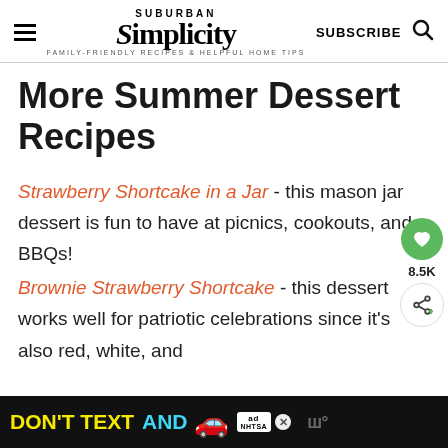SUBURBAN SIMPLICITY — FAMILY-FRIENDLY RECIPES & HELPFUL HOME TIPS | SUBSCRIBE
More Summer Dessert Recipes
Strawberry Shortcake in a Jar - this mason jar dessert is fun to have at picnics, cookouts, and BBQs!
Brownie Strawberry Shortcake - this dessert works well for patriotic celebrations since it's also red, white, and b[lue]
[Figure (other): Advertisement banner: DON'T TEXT AND [drive] with car emoji and NHTSA logo]